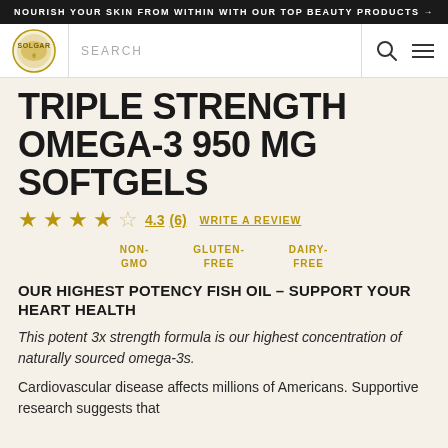NOURISH YOUR SKIN FROM WITHIN WITH OUR TOP BEAUTY PRODUCTS →
[Figure (logo): Solgar circular logo in gold/yellow on white background]
TRIPLE STRENGTH OMEGA-3 950 MG SOFTGELS
4.3 (6) WRITE A REVIEW
NON-GMO   GLUTEN-FREE   DAIRY-FREE
OUR HIGHEST POTENCY FISH OIL – SUPPORT YOUR HEART HEALTH
This potent 3x strength formula is our highest concentration of naturally sourced omega-3s.
Cardiovascular disease affects millions of Americans. Supportive research suggests that